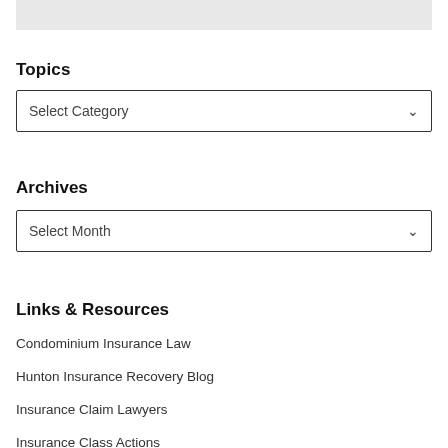[Figure (other): Gray shaded box at the top of the sidebar]
Topics
[Figure (other): Dropdown select box with placeholder text 'Select Category']
Archives
[Figure (other): Dropdown select box with placeholder text 'Select Month']
Links & Resources
Condominium Insurance Law
Hunton Insurance Recovery Blog
Insurance Claim Lawyers
Insurance Class Actions